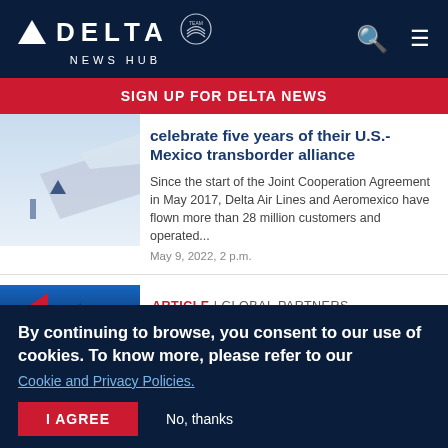DELTA NEWS HUB
SIGN UP FOR DELTA NEWS
celebrate five years of their U.S.-Mexico transborder alliance
Since the start of the Joint Cooperation Agreement in May 2017, Delta Air Lines and Aeromexico have flown more than 28 million customers and operated...
May 9, 2022, 2 p.m.
ARTICLE | GLOBAL PARTNERS
By continuing to browse, you consent to our use of cookies. To know more, please refer to our
Cookie and Privacy Policies.
I AGREE
No, thanks